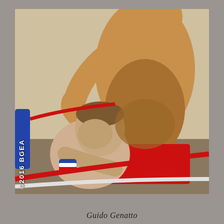[Figure (photo): Two male wrestlers in a wrestling ring. One wrestler wearing red trunks stands over the other who is bent down near the ring ropes. A copyright watermark reading ©2016 BGEA is visible vertically on the left side of the image.]
Guido Genatto